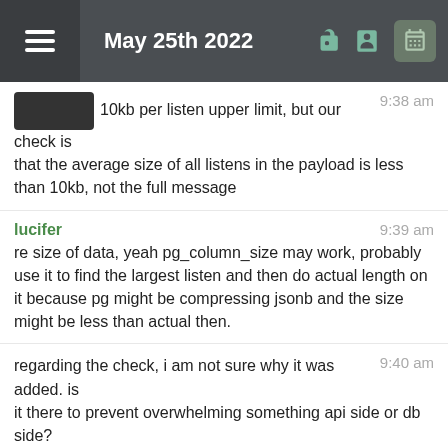May 25th 2022
10kb per listen upper limit, but our check is that the average size of all listens in the payload is less than 10kb, not the full message
re size of data, yeah pg_column_size may work, probably use it to find the largest listen and then do actual length on it because pg might be compressing jsonb and the size might be less than actual then.
regarding the check, i am not sure why it was added. is it there to prevent overwhelming something api side or db side?
or maybe we can estimate
seems a weird check